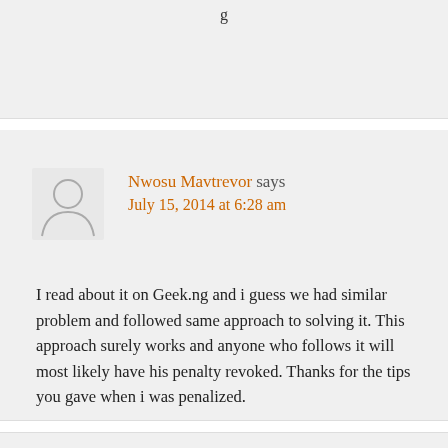g
Nwosu Mavtrevor says
July 15, 2014 at 6:28 am
I read about it on Geek.ng and i guess we had similar problem and followed same approach to solving it. This approach surely works and anyone who follows it will most likely have his penalty revoked. Thanks for the tips you gave when i was penalized.